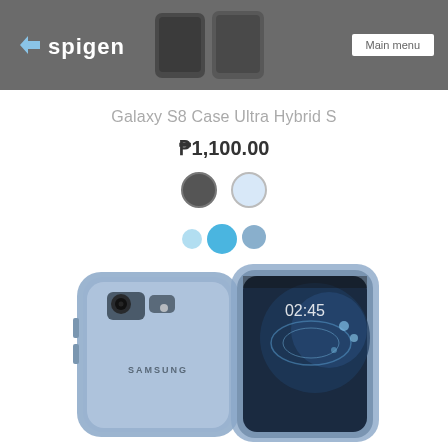Spigen — Main menu
Galaxy S8 Case Ultra Hybrid S
₱1,100.00
[Figure (photo): Color swatches: dark gray circle and light blue/white circle]
[Figure (photo): Quantity selector bubbles in blue]
[Figure (photo): Samsung Galaxy S8 phone shown from back and front-right angle inside a Spigen Ultra Hybrid S case in blue/violet color with clear back panel]